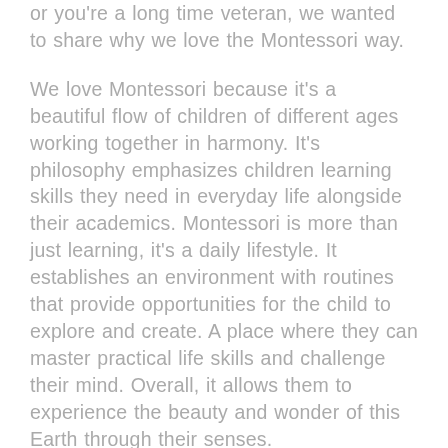or you're a long time veteran, we wanted to share why we love the Montessori way.
We love Montessori because it's a beautiful flow of children of different ages working together in harmony. It's philosophy emphasizes children learning skills they need in everyday life alongside their academics. Montessori is more than just learning, it's a daily lifestyle. It establishes an environment with routines that provide opportunities for the child to explore and create. A place where they can master practical life skills and challenge their mind. Overall, it allows them to experience the beauty and wonder of this Earth through their senses.